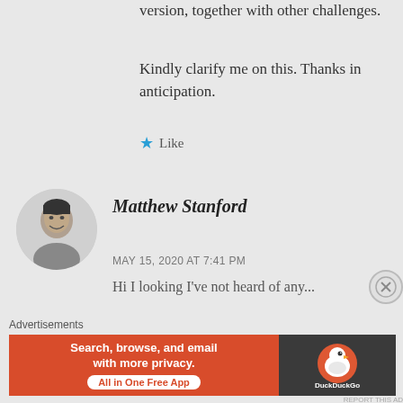version, together with other challenges.
Kindly clarify me on this. Thanks in anticipation.
★ Like
[Figure (photo): Circular avatar photo of Matthew Stanford, a man with short dark hair smiling]
Matthew Stanford
MAY 15, 2020 AT 7:41 PM
Hi I looking I've not heard of any...
Advertisements
[Figure (infographic): DuckDuckGo advertisement banner: orange left side with text 'Search, browse, and email with more privacy. All in One Free App', dark right side with DuckDuckGo logo]
[Figure (other): Close/dismiss button circle with X]